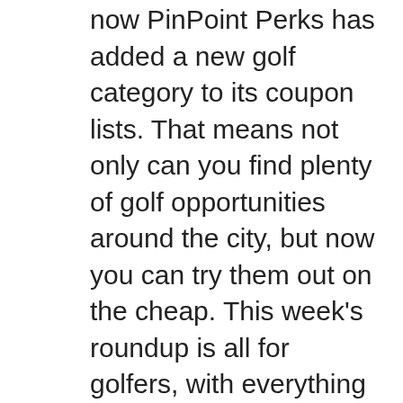now PinPoint Perks has added a new golf category to its coupon lists. That means not only can you find plenty of golf opportunities around the city, but now you can try them out on the cheap. This week's roundup is all for golfers, with everything from full courses to mini-golf and pro shops. With no further ado, here's this week's PinPoint Perks coupons roundup:
Orchard Golf Center – Orchard Golf Center is not your everyday Par 3 course in Greenwood. The course is a joy for golfers of any skill level to play. Orchard will challenge every golfer and provide a relaxing atmosphere.
Orchard's coupons include FREE 18 holes of play, buy one large bucket and get one small